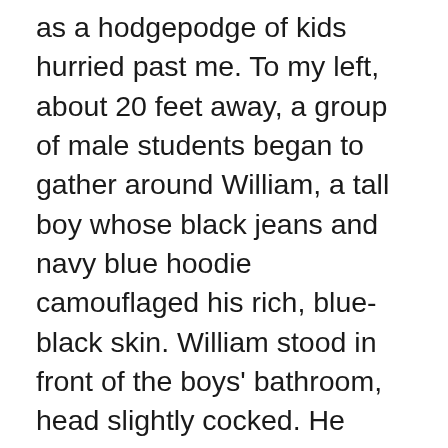as a hodgepodge of kids hurried past me. To my left, about 20 feet away, a group of male students began to gather around William, a tall boy whose black jeans and navy blue hoodie camouflaged his rich, blue-black skin. William stood in front of the boys' bathroom, head slightly cocked. He gestured demonstratively toward two kids in front of him. I recognized the two boys as Marvelous and his ever-present shadow, Khan. Marvelous moved closer to William, almost touching his chest. Khan slid in beside him. As the taunts heated up and the boys' voices raised, a crowd quickly closed in around them, partially blocking my view. I turned to